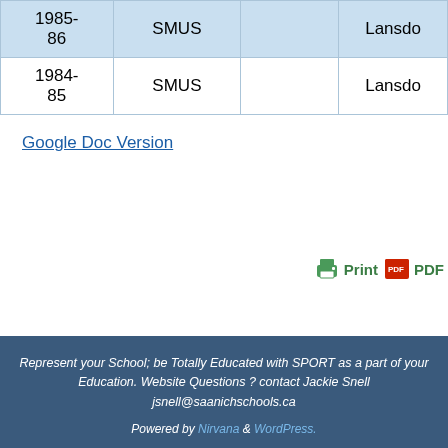|  |  |  |  |
| --- | --- | --- | --- |
| 1985-86 | SMUS |  | Lansdo… |
| 1984-85 | SMUS |  | Lansdo… |
Google Doc Version
[Figure (other): Print and PDF buttons with icons]
Represent your School; be Totally Educated with SPORT as a part of your Education. Website Questions ? contact Jackie Snell jsnell@saanichschools.ca
Powered by Nirvana & WordPress.